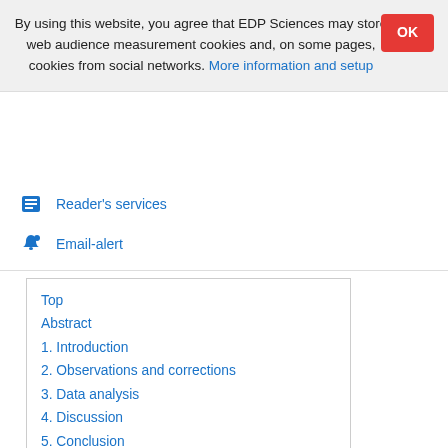By using this website, you agree that EDP Sciences may store web audience measurement cookies and, on some pages, cookies from social networks. More information and setup
Reader's services
Email-alert
Top
Abstract
1. Introduction
2. Observations and corrections
3. Data analysis
4. Discussion
5. Conclusion
Acknowledgments
References
List of tables